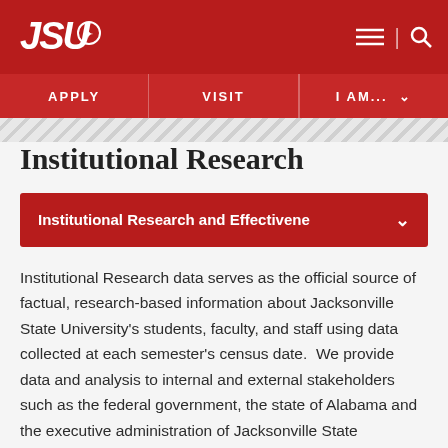JSU — Navigation bar with logo, menu and search icons, APPLY | VISIT | I AM... links
Institutional Research
Institutional Research and Effectivene ∨
Institutional Research data serves as the official source of factual, research-based information about Jacksonville State University's students, faculty, and staff using data collected at each semester's census date.  We provide data and analysis to internal and external stakeholders such as the federal government, the state of Alabama and the executive administration of Jacksonville State